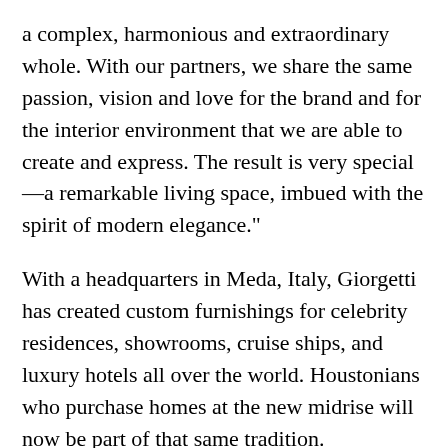a complex, harmonious and extraordinary whole. With our partners, we share the same passion, vision and love for the brand and for the interior environment that we are able to create and express. The result is very special—a remarkable living space, imbued with the spirit of modern elegance."
With a headquarters in Meda, Italy, Giorgetti has created custom furnishings for celebrity residences, showrooms, cruise ships, and luxury hotels all over the world. Houstonians who purchase homes at the new midrise will now be part of that same tradition.
Every Giorgetti piece in the residences, from the kitchen and outdoor cabinetry to paneling, lighting, carpets, closets, woodwork, furnishings, and a sculptural wood art piece at the exterior entrance of each home, was